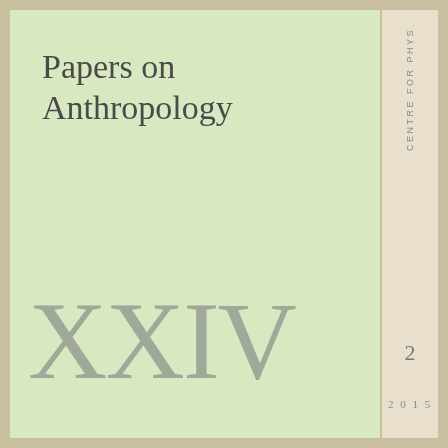Papers on Anthropology
XXIV
CENTRE FOR PHYS
2
2015